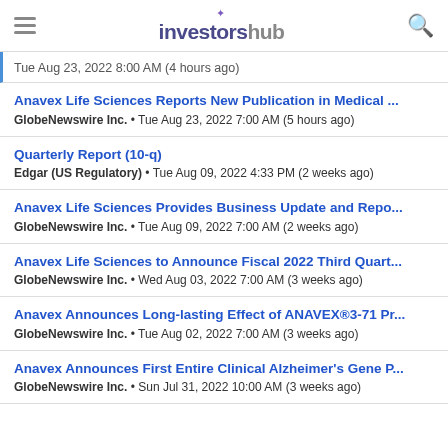investorshub
Tue Aug 23, 2022 8:00 AM (4 hours ago)
Anavex Life Sciences Reports New Publication in Medical ...
GlobeNewswire Inc. • Tue Aug 23, 2022 7:00 AM (5 hours ago)
Quarterly Report (10-q)
Edgar (US Regulatory) • Tue Aug 09, 2022 4:33 PM (2 weeks ago)
Anavex Life Sciences Provides Business Update and Repo...
GlobeNewswire Inc. • Tue Aug 09, 2022 7:00 AM (2 weeks ago)
Anavex Life Sciences to Announce Fiscal 2022 Third Quart...
GlobeNewswire Inc. • Wed Aug 03, 2022 7:00 AM (3 weeks ago)
Anavex Announces Long-lasting Effect of ANAVEX®3-71 Pr...
GlobeNewswire Inc. • Tue Aug 02, 2022 7:00 AM (3 weeks ago)
Anavex Announces First Entire Clinical Alzheimer's Gene P...
GlobeNewswire Inc. • Sun Jul 31, 2022 10:00 AM (3 weeks ago)